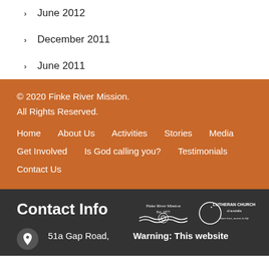June 2012
December 2011
June 2011
© 2020 Finke River Mission. All Rights Reserved. Home  About Us  Activities  Stories  Media  Get Involved  Is God calling you?  Testimonials  Contact Us
Contact Info
[Figure (logo): Finke River Mission logo and Lutheran Church of Australia logo]
51a Gap Road,
Warning: This website